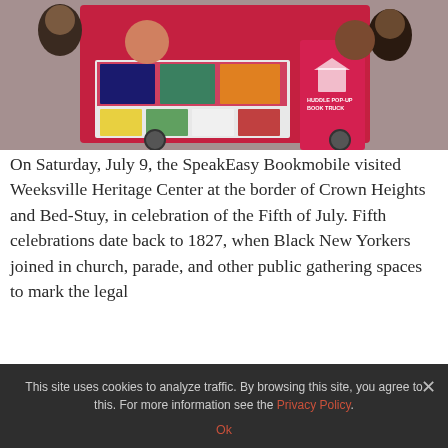[Figure (photo): Children posing with a red SpeakEasy pop-up book truck prop, showing illustrated book covers in a grid on the prop's facade.]
On Saturday, July 9, the SpeakEasy Bookmobile visited Weeksville Heritage Center at the border of Crown Heights and Bed-Stuy, in celebration of the Fifth of July. Fifth celebrations date back to 1827, when Black New Yorkers joined in church, parade, and other public gathering spaces to mark the legal
This site uses cookies to analyze traffic. By browsing this site, you agree to this. For more information see the Privacy Policy.
Ok